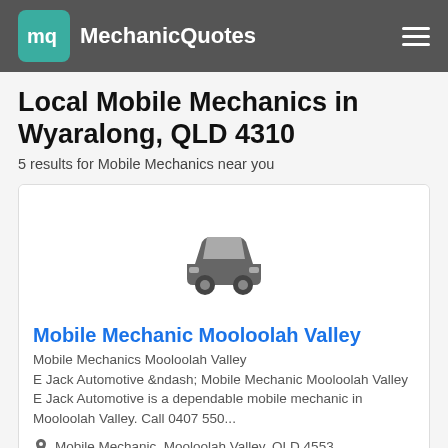MechanicQuotes
Local Mobile Mechanics in Wyaralong, QLD 4310
5 results for Mobile Mechanics near you
[Figure (illustration): Car icon graphic in grey]
Mobile Mechanic Mooloolah Valley
Mobile Mechanics Mooloolah Valley
E Jack Automotive &ndash; Mobile Mechanic Mooloolah Valley E Jack Automotive is a dependable mobile mechanic in Mooloolah Valley. Call 0407 550...
Mobile Mechanic, Mooloolah Valley, QLD 4553